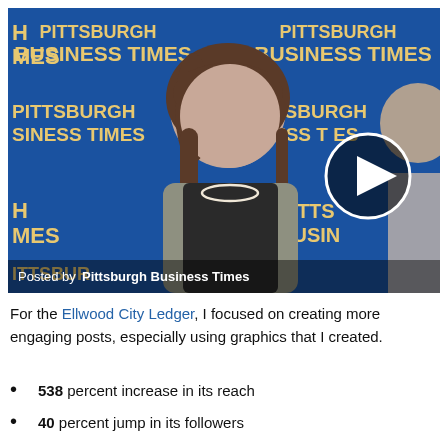[Figure (photo): Video thumbnail showing a woman and a man standing in front of a blue Pittsburgh Business Times branded backdrop, with a circular play button overlay in the center-right area. Text at bottom reads 'Posted by Pittsburgh Business Times'.]
For the Ellwood City Ledger, I focused on creating more engaging posts, especially using graphics that I created.
538 percent increase in its reach
40 percent jump in its followers